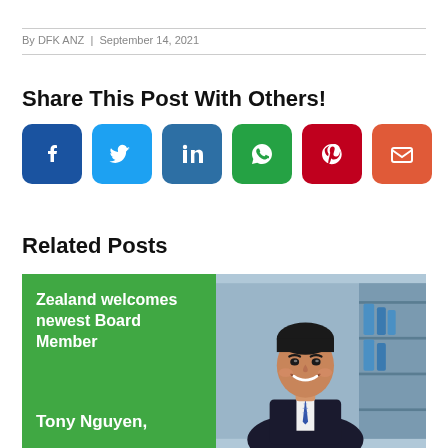By DFK ANZ | September 14, 2021
Share This Post With Others!
[Figure (infographic): Social media share buttons: Facebook, Twitter, LinkedIn, WhatsApp, Pinterest, Email]
Related Posts
[Figure (infographic): Related post card: green background with text 'Zealand welcomes newest Board Member Tony Nguyen,' and a photo of a smiling man in a suit]